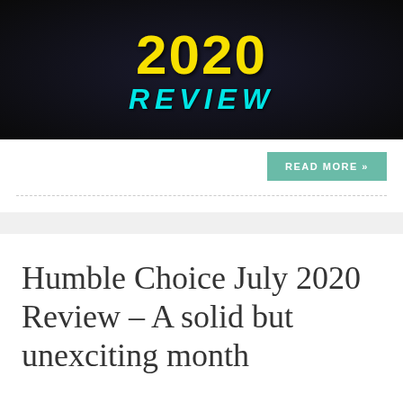[Figure (photo): Dark promotional banner image showing '2020 REVIEW' text in yellow and cyan colors against a dark background]
READ MORE »
Humble Choice July 2020 Review – A solid but unexciting month